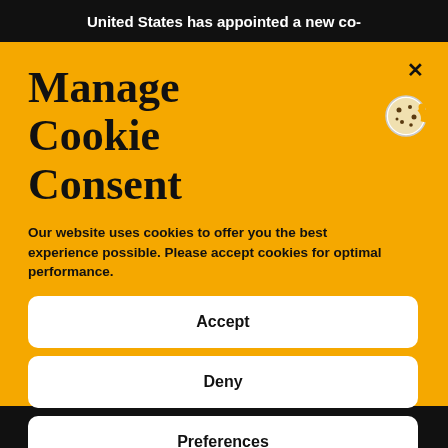United States has appointed a new co-
Manage Cookie Consent
Our website uses cookies to offer you the best experience possible. Please accept cookies for optimal performance.
Accept
Deny
Preferences
...t A...d ii...i...t...